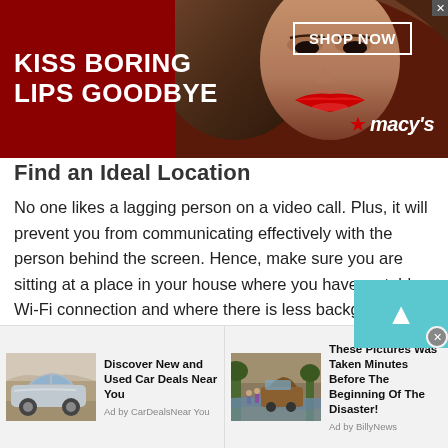[Figure (photo): Macy's advertisement banner — woman with red lips, text KISS BORING LIPS GOODBYE, SHOP NOW button, Macy's star logo]
Find an Ideal Location
No one likes a lagging person on a video call. Plus, it will prevent you from communicating effectively with the person behind the screen. Hence, make sure you are sitting at a place in your house where you have a stable Wi-Fi connection and where there is less background noise. Also make sure your space is tidy and clean, because your surroundings will also make an impression when you join an Guadeloupian Make New Friends .
[Figure (photo): Bottom advertisement bar with two ad units: (1) car deals ad with image of silver car — Discover New and Used Car Deals Near You, Ad by CarDealsNearYou; (2) disaster pictures ad with image of truck in flood — These Pictures Was Taken Minutes Before The Beginning Of The Disaster!, Ad by BillyNews]